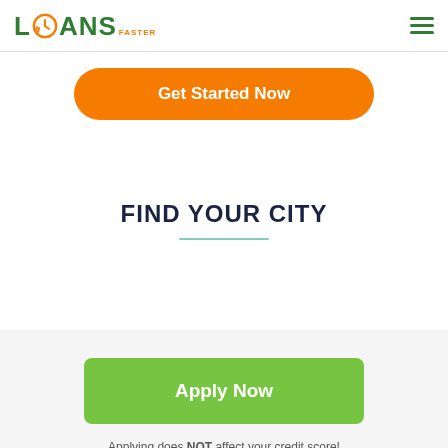LOANS FASTER
Get Started Now
FIND YOUR CITY
Apply Now
Applying does NOT affect your credit score! No credit check to apply.